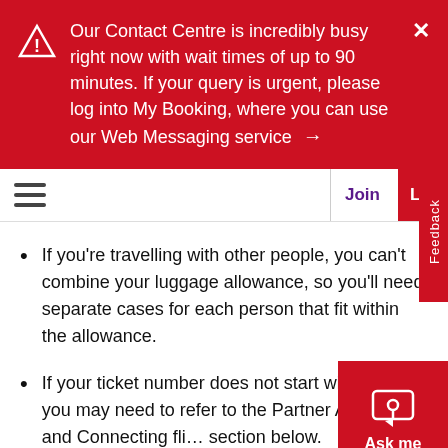Our Contact Centre is incredibly busy right now with wait times of up to 90 minutes. If your query is urgent, please log into My Booking, where you can use our Web Messaging service →
[Figure (screenshot): Website navigation bar with hamburger menu icon, Join link in purple, and Login button in red]
If you're travelling with other people, you can't combine your luggage allowance, so you'll need separate cases for each person that fit within the allowance.
If your ticket number does not start with VS then you may need to refer to the Partner Airlines and Connecting flights section below.